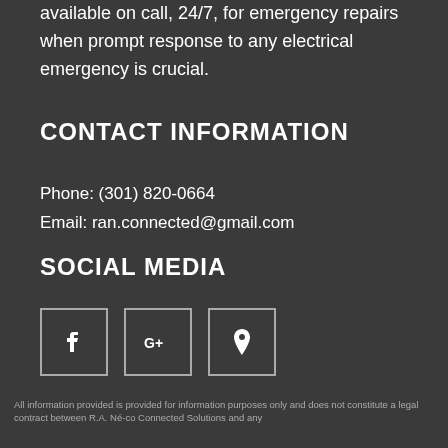Connected Solutions electricians are available on call, 24/7, for emergency repairs when prompt response to any electrical emergency is crucial.
CONTACT INFORMATION
Phone: (301) 820-0664
Email: ran.connected@gmail.com
SOCIAL MEDIA
[Figure (illustration): Three social media icon buttons: Facebook (f), Google+ (G+), and Google Maps/Location pin icon, displayed as outlined square buttons.]
All information provided is provided for information purposes only and does not constitute a legal contract between R.A. Ne-co Connected Solutions and any